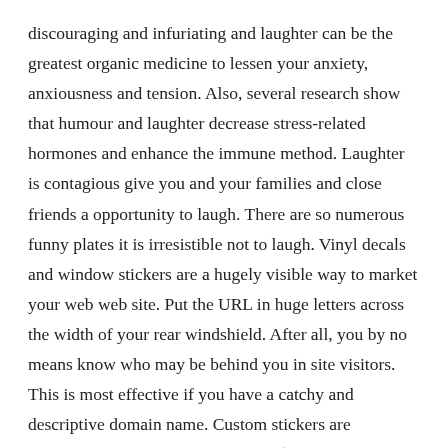discouraging and infuriating and laughter can be the greatest organic medicine to lessen your anxiety, anxiousness and tension. Also, several research show that humour and laughter decrease stress-related hormones and enhance the immune method. Laughter is contagious give you and your families and close friends a opportunity to laugh. There are so numerous funny plates it is irresistible not to laugh. Vinyl decals and window stickers are a hugely visible way to market your web web site. Put the URL in huge letters across the width of your rear windshield. After all, you by no means know who may be behind you in site visitors. This is most effective if you have a catchy and descriptive domain name. Custom stickers are accessible at rates beginning below $20. Have you ever worried that a front license plate will scar the sculpted front finish of your $200,000 exotic sports car (or considerably much less high-priced vehicle) and turn it into an ugly duckling? You happen to be not alone. Front license plates are disliked by many, but another group – which contains many law